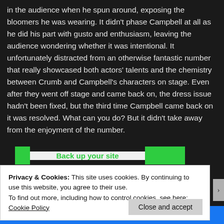in the audience when he spun around, exposing the bloomers he was wearing. It didn't phase Campbell at all as he did his part with gusto and enthusiasm, leaving the audience wondering whether it was intentional. It unfortunately distracted from an otherwise fantastic number that really showcased both actors' talents and the chemistry between Crumb and Campbell's characters on stage. Even after they went off stage and came back on, the dress issue hadn't been fixed, but the third time Campbell came back on it was resolved. What can you do? But it didn't take away from the enjoyment of the number.
Back up your site
Privacy & Cookies: This site uses cookies. By continuing to use this website, you agree to their use.
To find out more, including how to control cookies, see here: Cookie Policy
Close and accept
app you'll ever need.